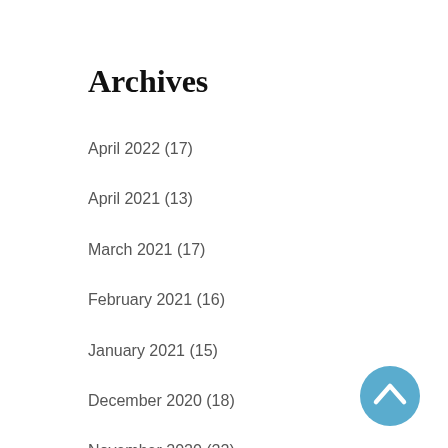Archives
April 2022 (17)
April 2021 (13)
March 2021 (17)
February 2021 (16)
January 2021 (15)
December 2020 (18)
November 2020 (22)